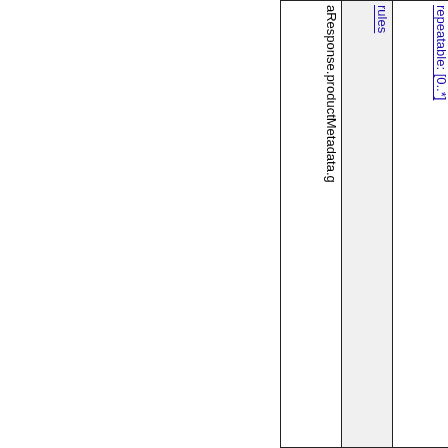| aResponse.productMetadata.g | rules | repeatable: [0..*] |
| --- | --- | --- |
| aResponse.productMetadata.g | rules | repeatable: [0..*] |